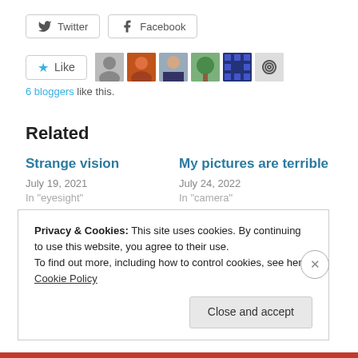[Figure (other): Twitter and Facebook share buttons]
[Figure (other): Like button with 6 blogger avatar thumbnails]
6 bloggers like this.
Related
Strange vision
July 19, 2021
In "eyesight"
My pictures are terrible
July 24, 2022
In "camera"
Privacy & Cookies: This site uses cookies. By continuing to use this website, you agree to their use.
To find out more, including how to control cookies, see here: Cookie Policy
Close and accept